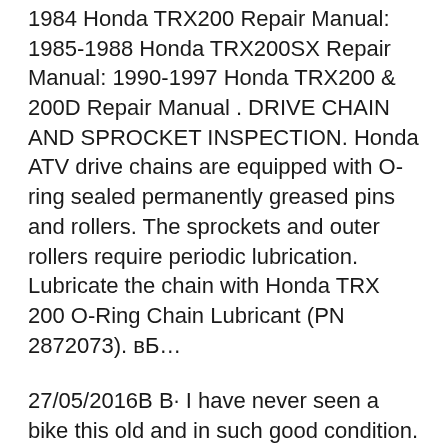1984 Honda TRX200 Repair Manual: 1985-1988 Honda TRX200SX Repair Manual: 1990-1997 Honda TRX200 & 200D Repair Manual . DRIVE CHAIN AND SPROCKET INSPECTION. Honda ATV drive chains are equipped with O-ring sealed permanently greased pins and rollers. The sprockets and outer rollers require periodic lubrication. Lubricate the chain with Honda TRX 200 O-Ring Chain Lubricant (PN 2872073). вЂ¦
27/05/2016В В· I have never seen a bike this old and in such good condition. the other person in this video is the co-owner of my channel, he will be uploading his content on this channel too. Home В» Powersports В» ATV В» Honda В» TRX В» TRX 200 В» HONDA TRX200 1984 Service Repair Manual. HONDA TRX200 1984 Service